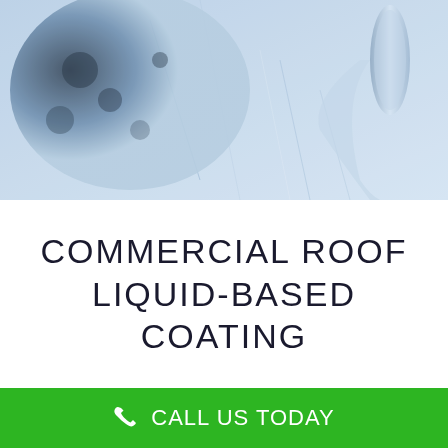[Figure (photo): Close-up photograph of commercial roofing material — cracked or damaged surface with ice/liquid coating visible, showing blue-grey tones with a rolled membrane on the right side]
COMMERCIAL ROOF LIQUID-BASED COATING
CALL US TODAY